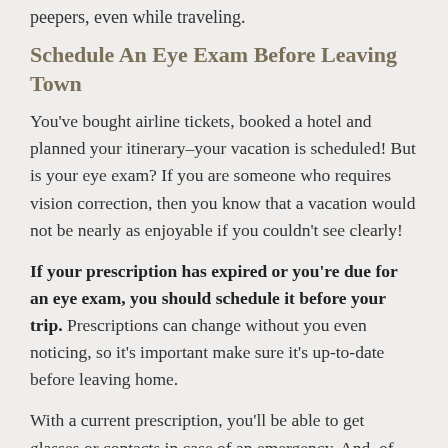peepers, even while traveling.
Schedule An Eye Exam Before Leaving Town
You've bought airline tickets, booked a hotel and planned your itinerary–your vacation is scheduled! But is your eye exam? If you are someone who requires vision correction, then you know that a vacation would not be nearly as enjoyable if you couldn't see clearly!
If your prescription has expired or you're due for an eye exam, you should schedule it before your trip. Prescriptions can change without you even noticing, so it's important make sure it's up-to-date before leaving home.
With a current prescription, you'll be able to get glasses or contacts in case of an emergency. And, of course, you'll be able to take in all the new sights and attractions on vacation with clear, crisp vision!